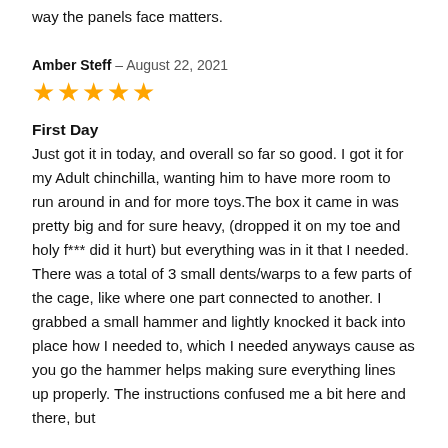way the panels face matters.
Amber Steff – August 22, 2021
[Figure (other): 5 gold stars rating]
First Day
Just got it in today, and overall so far so good. I got it for my Adult chinchilla, wanting him to have more room to run around in and for more toys.The box it came in was pretty big and for sure heavy, (dropped it on my toe and holy f*** did it hurt) but everything was in it that I needed. There was a total of 3 small dents/warps to a few parts of the cage, like where one part connected to another. I grabbed a small hammer and lightly knocked it back into place how I needed to, which I needed anyways cause as you go the hammer helps making sure everything lines up properly. The instructions confused me a bit here and there, but